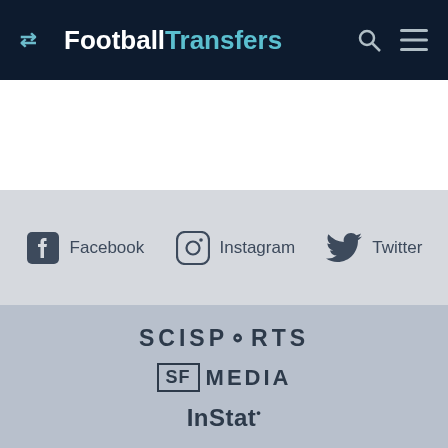FootballTransfers
[Figure (logo): FootballTransfers website header with logo, search icon and menu icon on dark navy background]
[Figure (logo): Social media links bar with Facebook, Instagram, and Twitter icons and labels on light grey background]
[Figure (logo): Partners section on grey background showing SCISPORTS, SF MEDIA, and InStat logos]